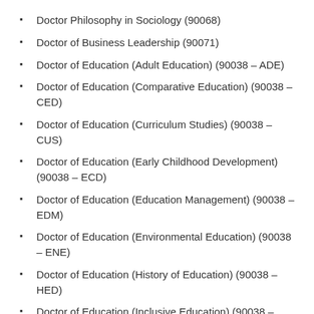Doctor Philosophy in Sociology (90068)
Doctor of Business Leadership (90071)
Doctor of Education (Adult Education) (90038 – ADE)
Doctor of Education (Comparative Education) (90038 – CED)
Doctor of Education (Curriculum Studies) (90038 – CUS)
Doctor of Education (Early Childhood Development) (90038 – ECD)
Doctor of Education (Education Management) (90038 – EDM)
Doctor of Education (Environmental Education) (90038 – ENE)
Doctor of Education (History of Education) (90038 – HED)
Doctor of Education (Inclusive Education) (90038 – IED)
Doctor of Education (Language Education) (90038 –